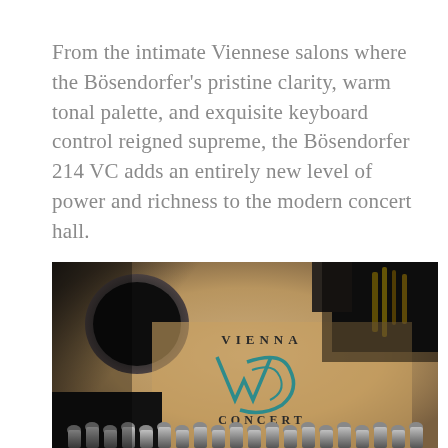From the intimate Viennese salons where the Bösendorfer's pristine clarity, warm tonal palette, and exquisite keyboard control reigned supreme, the Bösendorfer 214 VC adds an entirely new level of power and richness to the modern concert hall.
[Figure (photo): Close-up photograph of a Bösendorfer piano soundboard showing the 'VIENNA CONCERT' logo with a decorative VC monogram in teal/blue, tuning pins, and part of the piano's copper/gold-toned interior.]